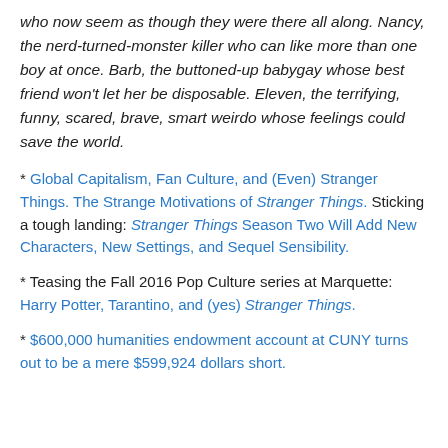who now seem as though they were there all along. Nancy, the nerd-turned-monster killer who can like more than one boy at once. Barb, the buttoned-up babygay whose best friend won't let her be disposable. Eleven, the terrifying, funny, scared, brave, smart weirdo whose feelings could save the world.
* Global Capitalism, Fan Culture, and (Even) Stranger Things. The Strange Motivations of Stranger Things. Sticking a tough landing: Stranger Things Season Two Will Add New Characters, New Settings, and Sequel Sensibility.
* Teasing the Fall 2016 Pop Culture series at Marquette: Harry Potter, Tarantino, and (yes) Stranger Things.
* $600,000 humanities endowment account at CUNY turns out to be a mere $599,924 dollars short.